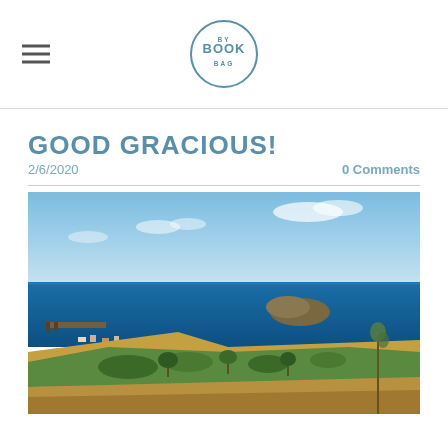BY BOOK BAG (logo)
GOOD GRACIOUS!
2/6/2020
0 Comments
[Figure (photo): Scenic coastal landscape showing bright blue ocean with a small island or rocky headland in the distance, a small harbor/port visible on the left coast, rolling green fields and scattered trees in the foreground, with a tall dried plant stalk on the right side. Blue sky with light clouds above.]